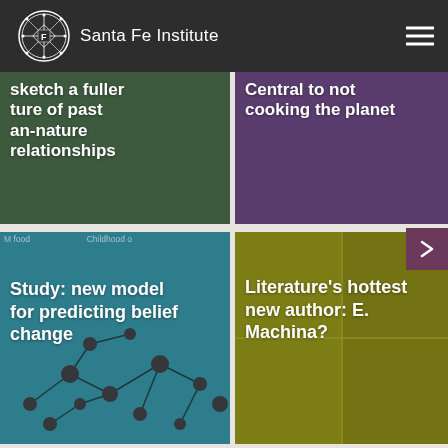Santa Fe Institute
[Figure (screenshot): Santa Fe Institute website screenshot showing navigation bar with logo and hamburger menu, and a grid of four article cards: top-left shows partially visible text about sketching nature of past human-nature relationships on a dark green background; top-right shows partially visible text about Central to not cooking the planet on a purple background; bottom-left shows Study: new model for predicting belief change on a teal background with network graph; bottom-right shows Literature's hottest new author: E. Machina? on an olive/yellow background with robot images.]